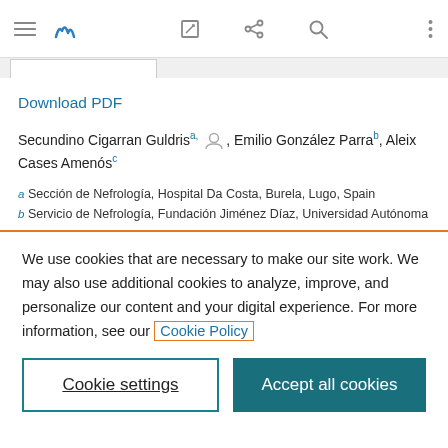[Figure (screenshot): Browser navigation bar with hamburger menu, Wiley logo, edit icon, share icon, search icon, and more options icon]
Download PDF
Secundino Cigarran Guldris a, [person icon], Emilio González Parra b, Aleix Cases Amenós c
a Sección de Nefrología, Hospital Da Costa, Burela, Lugo, Spain
b Servicio de Nefrología, Fundación Jiménez Díaz, Universidad Autónoma [de Madrid...]
We use cookies that are necessary to make our site work. We may also use additional cookies to analyze, improve, and personalize our content and your digital experience. For more information, see our Cookie Policy
Cookie settings
Accept all cookies